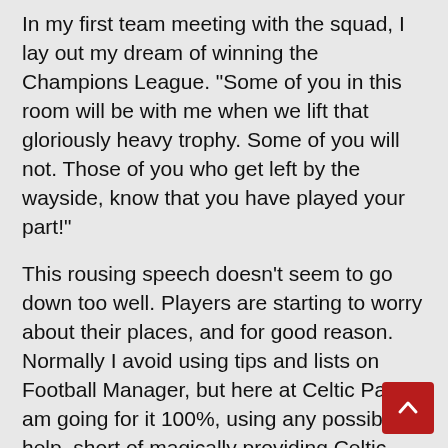In my first team meeting with the squad, I lay out my dream of winning the Champions League. "Some of you in this room will be with me when we lift that gloriously heavy trophy. Some of you will not. Those of you who get left by the wayside, know that you have played your part!"
This rousing speech doesn't seem to go down too well. Players are starting to worry about their places, and for good reason. Normally I avoid using tips and lists on Football Manager, but here at Celtic Park, I am going for it 100%, using any possible help, short of magically providing Celtic with unlimited wins, or mysterious cash injections.